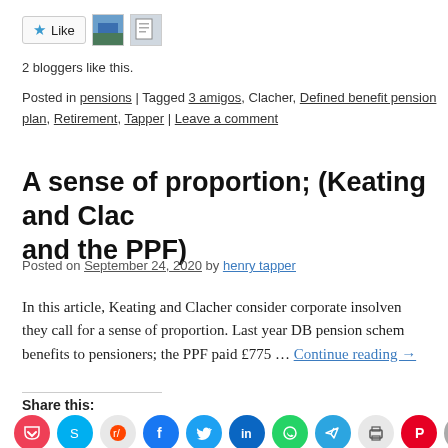[Figure (other): Like button with star icon and two blogger avatar thumbnails]
2 bloggers like this.
Posted in pensions | Tagged 3 amigos, Clacher, Defined benefit pension plan, Retirement, Tapper | Leave a comment
A sense of proportion; (Keating and Clacher and the PPF)
Posted on September 24, 2020 by henry tapper
In this article, Keating and Clacher consider corporate insolvency and they call for a sense of proportion. Last year DB pension schemes paid benefits to pensioners; the PPF paid £775 … Continue reading →
Share this:
[Figure (infographic): Row of social share icon buttons: Pocket, Skype, Reddit, Facebook, Twitter, LinkedIn, WhatsApp, Telegram, Print, Pinterest, Email]